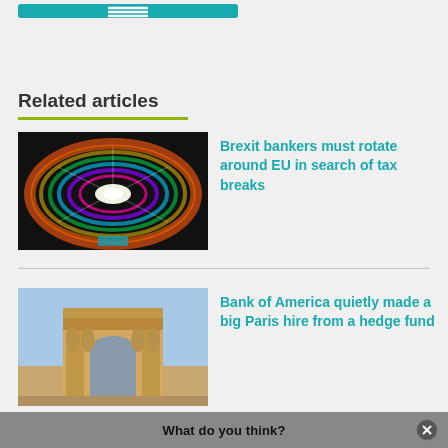[Figure (other): Teal/turquoise button bar at top of page]
Related articles
[Figure (photo): Colorful illuminated roulette wheel with rainbow light trails]
Brexit bankers must rotate around EU in search of tax breaks
[Figure (photo): Arc de Triomphe in Paris with statues and blue sky]
Bank of America quietly made a big Paris hire from a hedge fund
What do you think?